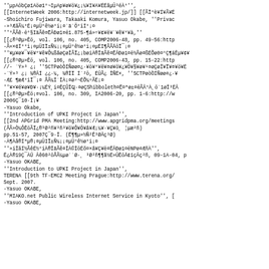''μpAöbÇøïAöø1°¬IμAp¥ø¥ö¥¿¡¼¥I¥A¥ÉÉãμÜ³éÀ°'',
[[InternetWeek 2006:http://internetweek.jp/]] [[ÃÏ°è¥Í¥Ã¥É
-Shoichiro Fujiwara, Takaaki Komura, Yasuo Okabe, ''Privac
-»³ÆãÃ¼°É¡¤μÜ°ê½ø°i¡¤´ä´Ö°iÍ°¡¤
''°ÃÃê·ë°§IäÃê¤ËÂÐø1¤ë1.875-¶á»÷¥¢¥ë¥´¥ê¥°¥à,''
[[¿®³Øμ»Êö, vol. 106, no. 405, COMP2006-48, pp. 49-56:http
-Ã«×¢Í°°i¡¤μÜIÏ±Ñ¼¡¡¤μÜ°ê½ø°i¡¤μÉI¶ÃÃÄöÏ¯¡¤
''¥μ¥ø¥¯¥ë¥°¥ê¥Ô¼ßåøÇøÎÃÏ¿¡bøiÀ®ÎäÃê¤ËÂÐø1¤ë½Åø¤ßÉÕø0¤°Ç¶áÊμ¥¢¥
[[¿®³Øμ»Êö, vol. 106, no. 405, COMP2006-43, pp. 15-22:http
//- ´Ý»³ ¿¡ ''SCTPøòÒÍÑøø¤¿·¥ö¥°¥ë¥¤ø¥ö¥¿¥Ö¥§¥ø¥¹¤øÇøÎ¥Ï¥¤¥ö¥É
-´Ý»³ ¿¡ ¾®ÂÍ ¿¿·¼, ¾®ÎÏ Í´²ö, ÉÜÃ¿ ÎÑÉ×, ''SCTPøòÒÍÑøø¤¿·¥
-Æ£ ¶æÆ°iÏ¯¡¤ ÅÃ¼Î´ÎÀ¡¤ø²¬ÉÕ¼÷ÃÉ¡¤
''¥×¥é¥ø¥Ð¥·¡¼ÉÝ¸i¤ÊÇÛÎϤ·¤øÇShibboleth¤Ë¤ªø±¤ëÃÂ°À¸ö´1øÎ³ÈÂ
[[¿®³Øμ»Êö¡¤vol. 106, no. 309, IA2006-20, pp. 1-6:http://w
2006Ç¯10·Î¡¥
-Yasuo Okabe,
''Introduction of UPKI Project in Japan'',
[[2nd APGrid PMA Meeting:http://www.apgridpma.org/meetings
(ÅÃ»Ò¼ÔÊöÃÏ¿®³Ø²ñ¥³ñ³¥ö¥Ô¥Ö¥å¥Æ¡¼¥·¥Ç¥ö¸ ¦μæ²ñ)
pp.51-57, 2007Ç¯9·Î. (Ë¶¶μ»½Ñ²Ê³ØÂç³Ø)
-À¶Àâ®Íªμ®¡¤μÜIÏ±Ñ¼¡¡¤μÜ°ê½ø°i¡¤
''»iÎãÍ½ÃêÉ½°iÀ®ÎäÃê¤ÎÀ©ÎöÉõ¤×å¥Ç¥ë¤ËÂÐø1¤ëNPø¤ÆñÀ'',
Ê¿À®19Ç¯ÀÚ Âê60²öÅÃ¼μø´´Ø·¸ ³Ø²ñ¶¶å½É»ÜÊöÄ¢1çÂç²ñ, 09-1A-04, p
-Yasuo OKABE,
''Introduction to UPKI Project in Japan'',
TERENA [[9th TF-EMC2 Meeting Prague:http://www.terena.org/
Sept. 2007.
-Yasuo OKABE,
''MIAKO.net Public Wireless Internet Service in Kyoto'', [
-Yasuo OKABE,